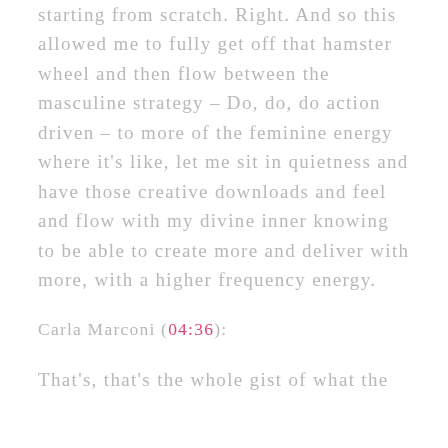starting from scratch. Right. And so this allowed me to fully get off that hamster wheel and then flow between the masculine strategy – Do, do, do action driven – to more of the feminine energy where it's like, let me sit in quietness and have those creative downloads and feel and flow with my divine inner knowing to be able to create more and deliver with more, with a higher frequency energy.
Carla Marconi (04:36):
That's, that's the whole gist of what the